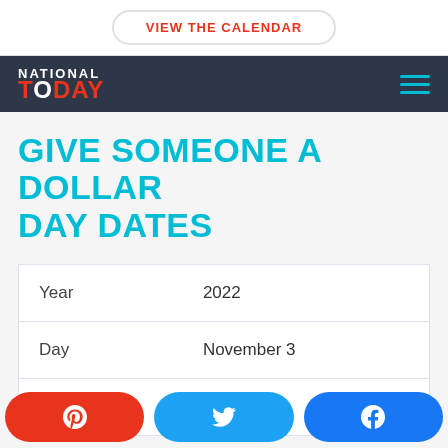VIEW THE CALENDAR
[Figure (logo): National Today logo with navigation header bar in dark navy blue. Logo shows NATIONAL in white uppercase and TODAY in red uppercase with white O. Hamburger menu icon in cyan on right.]
GIVE SOMEONE A DOLLAR DAY DATES
| Year | 2022 |
| Day | November 3 |
| Date | Thursday |